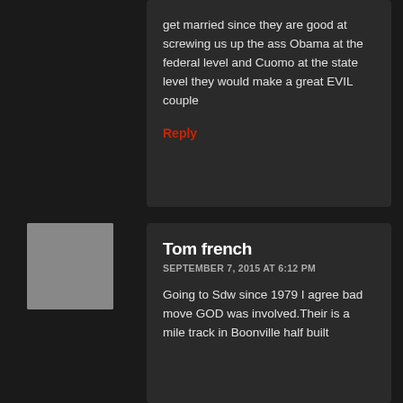get married since they are good at screwing us up the ass Obama at the federal level and Cuomo at the state level they would make a great EVIL couple
Reply
[Figure (illustration): Generic user avatar placeholder icon - white silhouette of a person on grey background]
Tom french
SEPTEMBER 7, 2015 AT 6:12 PM
Going to Sdw since 1979 I agree bad move GOD was involved.Their is a mile track in Boonville half built